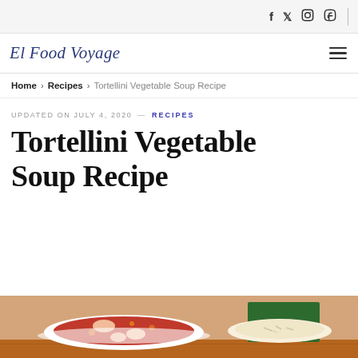Social icons: f, twitter, instagram, pinterest
[Figure (logo): El Food Voyage cursive logo in dark blue/navy]
Home > Recipes > Tortellini Vegetable Soup Recipe
UPDATED ON JULY 4, 2020 — RECIPES
Tortellini Vegetable Soup Recipe
[Figure (photo): Photo of tortellini vegetable soup in a white bowl with tomato-based broth, served on a wooden surface alongside a bowl of grain/rice]